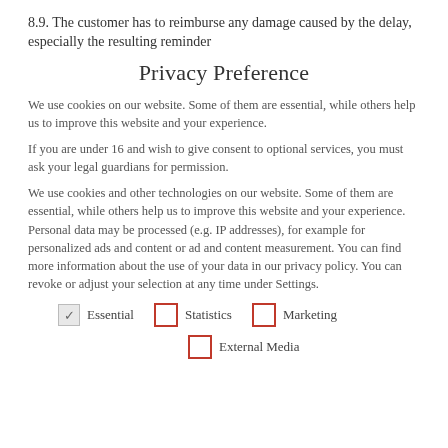8.9. The customer has to reimburse any damage caused by the delay, especially the resulting reminder
Privacy Preference
We use cookies on our website. Some of them are essential, while others help us to improve this website and your experience.
If you are under 16 and wish to give consent to optional services, you must ask your legal guardians for permission.
We use cookies and other technologies on our website. Some of them are essential, while others help us to improve this website and your experience. Personal data may be processed (e.g. IP addresses), for example for personalized ads and content or ad and content measurement. You can find more information about the use of your data in our privacy policy. You can revoke or adjust your selection at any time under Settings.
Essential
Statistics
Marketing
External Media